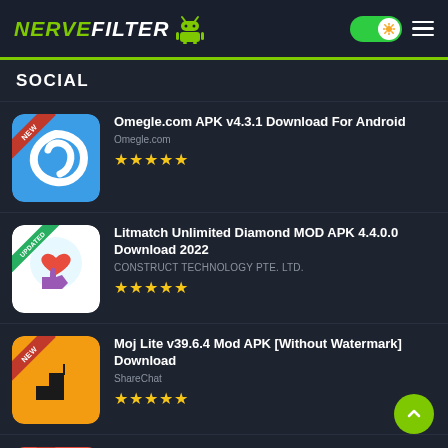NERVEFILTER
SOCIAL
Omegle.com APK v4.3.1 Download For Android — Omegle.com — ★★★★★
Litmatch Unlimited Diamond MOD APK 4.4.0.0 Download 2022 — CONSTRUCT TECHNOLOGY PTE. LTD. — ★★★★★
Moj Lite v39.6.4 Mod APK [Without Watermark] Download — ShareChat — ★★★★★
Houseclub APK v22.08.10 Download For Android